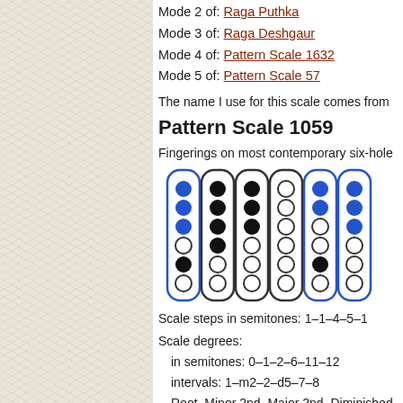Mode 2 of: Raga Puthka
Mode 3 of: Raga Deshgaur
Mode 4 of: Pattern Scale 1632
Mode 5 of: Pattern Scale 57
The name I use for this scale comes from
Pattern Scale 1059
Fingerings on most contemporary six-hole
[Figure (illustration): Six fingering diagrams for flute showing filled (blue/black) and open circles arranged in columns representing finger positions]
Scale steps in semitones: 1–1–4–5–1
Scale degrees:
in semitones: 0–1–2–6–11–12
intervals: 1–m2–2–d5–7–8
Root, Minor 2nd, Major 2nd, Diminished
Pitches starting from C:
C C♯ D F♯ B c